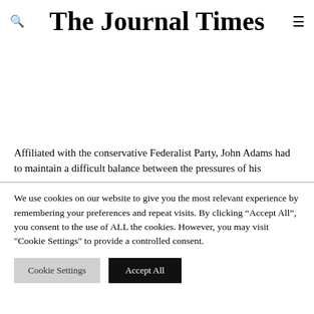The Journal Times
Affiliated with the conservative Federalist Party, John Adams had to maintain a difficult balance between the pressures of his
We use cookies on our website to give you the most relevant experience by remembering your preferences and repeat visits. By clicking “Accept All”, you consent to the use of ALL the cookies. However, you may visit "Cookie Settings" to provide a controlled consent.